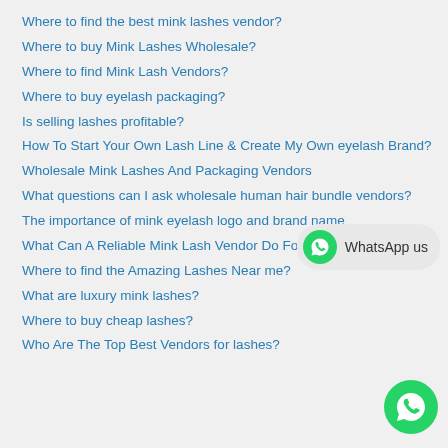Where to find the best mink lashes vendor?
Where to buy Mink Lashes Wholesale?
Where to find Mink Lash Vendors?
Where to buy eyelash packaging?
Is selling lashes profitable?
How To Start Your Own Lash Line & Create My Own eyelash Brand?
Wholesale Mink Lashes And Packaging Vendors
What questions can I ask wholesale human hair bundle vendors?
The importance of mink eyelash logo and brand name
What Can A Reliable Mink Lash Vendor Do For You?
Where to find the Amazing Lashes Near me?
What are luxury mink lashes?
Where to buy cheap lashes?
Who Are The Top Best Vendors for lashes?
[Figure (infographic): WhatsApp us button with WhatsApp logo icon and text 'WhatsApp us' on a light grey pill-shaped background, positioned mid-right of page.]
[Figure (infographic): Floating WhatsApp FAB button (green circle with white phone icon), positioned bottom-right corner.]